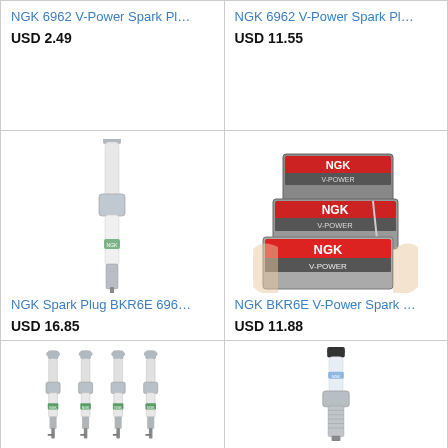NGK 6962 V-Power Spark Pl…
USD 2.49
NGK 6962 V-Power Spark Pl…
USD 11.55
[Figure (photo): Single NGK spark plug, chrome/silver metallic finish, white ceramic insulator with green text, angled view]
NGK Spark Plug BKR6E 696…
USD 16.85
[Figure (photo): Multiple NGK BKR6E V-Power spark plug boxes stacked, red and grey NGK branding, hand holding boxes]
NGK BKR6E V-Power Spark …
USD 11.88
[Figure (photo): Four NGK spark plugs standing upright side by side, chrome metallic, white ceramic insulators with green text]
[Figure (photo): Single NGK spark plug, black top, white/blue ceramic insulator, chrome hex base, angled view]